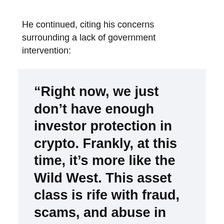He continued, citing his concerns surrounding a lack of government intervention:
“Right now, we just don’t have enough investor protection in crypto. Frankly, at this time, it’s more like the Wild West. This asset class is rife with fraud, scams, and abuse in certain applications. There’s a great deal of hype and spin about how crypto assets work. In many